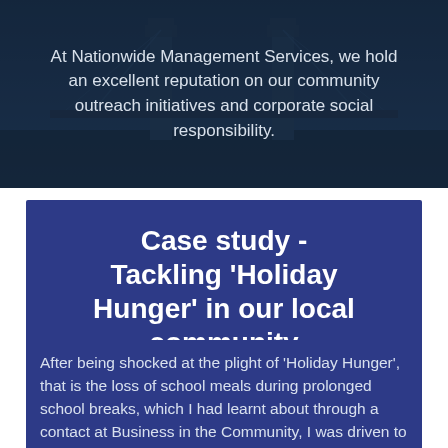[Figure (photo): Dark photo of Tower Bridge London at night with blue-dark overlay]
At Nationwide Management Services, we hold an excellent reputation on our community outreach initiatives and corporate social responsibility.
Case study - Tackling 'Holiday Hunger' in our local community
After being shocked at the plight of 'Holiday Hunger', that is the loss of school meals during prolonged school breaks, which I had learnt about through a contact at Business in the Community, I was driven to provide an immediate local solution